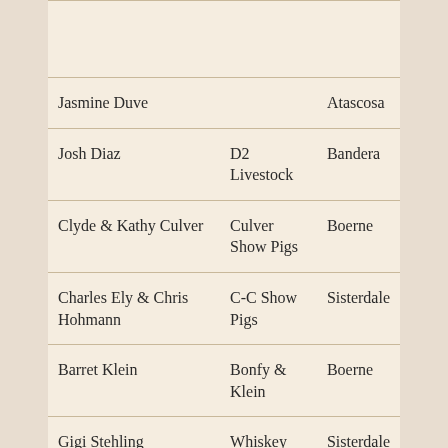| Name | Business | Location |
| --- | --- | --- |
| Jasmine Duve |  | Atascosa |
| Josh Diaz | D2 Livestock | Bandera |
| Clyde & Kathy Culver | Culver Show Pigs | Boerne |
| Charles Ely & Chris Hohmann | C-C Show Pigs | Sisterdale |
| Barret Klein | Bonfy & Klein | Boerne |
| Gigi Stehling | Whiskey Creek Show Pigs | Sisterdale |